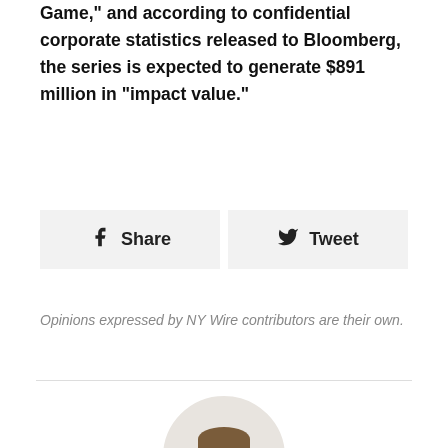Game," and according to confidential corporate statistics released to Bloomberg, the series is expected to generate $891 million in “impact value.”
[Figure (other): Social share buttons: Facebook Share and Twitter Tweet]
Opinions expressed by NY Wire contributors are their own.
[Figure (photo): Circular headshot photo of a man wearing glasses and a dark suit with a light blue tie]